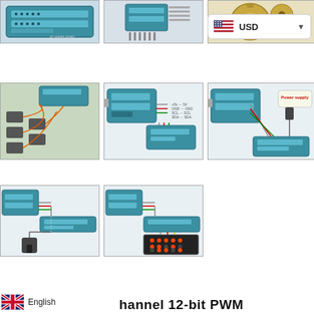[Figure (photo): Blue PWM controller board, top-left product image]
[Figure (photo): Arduino-style board with pin headers, top-center product image]
[Figure (photo): Robotic arm or gear assembly, top-right product image]
[Figure (screenshot): USD currency selector badge with US flag]
[Figure (photo): Servo motors with wiring connected to PWM board, middle-left]
[Figure (engineering-diagram): Arduino connected to PWM module, wiring diagram with pin labels, middle-center]
[Figure (engineering-diagram): Arduino connected to PWM board with power supply label, middle-right]
[Figure (engineering-diagram): Arduino connected to PWM board with small motor, bottom-left]
[Figure (engineering-diagram): Arduino connected to PWM board with LED matrix, bottom-center]
[Figure (logo): UK flag icon]
English
hannel 12-bit PWM